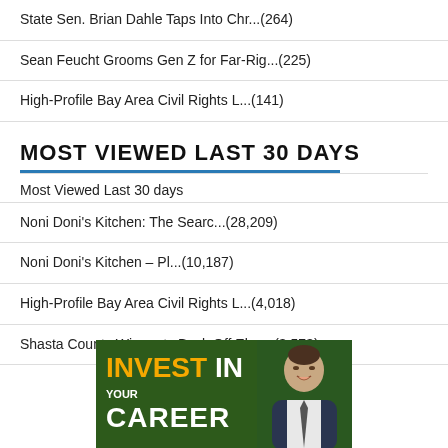State Sen. Brian Dahle Taps Into Chr...(264)
Sean Feucht Grooms Gen Z for Far-Rig...(225)
High-Profile Bay Area Civil Rights L...(141)
MOST VIEWED LAST 30 DAYS
Most Viewed Last 30 days
Noni Doni's Kitchen: The Searc...(28,209)
Noni Doni's Kitchen – Pl...(10,187)
High-Profile Bay Area Civil Rights L...(4,018)
Shasta County Wingnuts Back Off Elec...(3,573)
[Figure (photo): Advertisement showing 'INVEST IN YOUR CAREER' text over a green background with a man in a suit smiling]